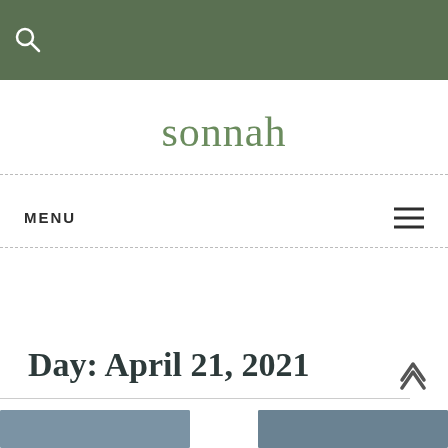sonnah
MENU
Day: April 21, 2021
[Figure (photo): Two thumbnail images at the bottom of the page]